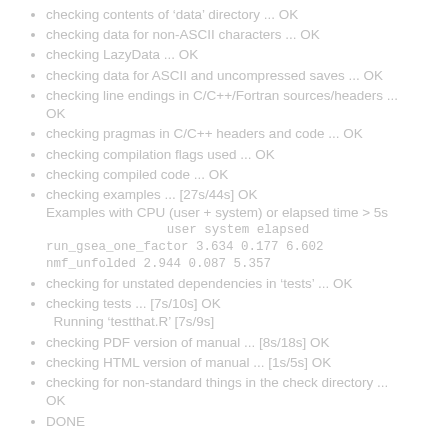checking contents of ‘data’ directory ... OK
checking data for non-ASCII characters ... OK
checking LazyData ... OK
checking data for ASCII and uncompressed saves ... OK
checking line endings in C/C++/Fortran sources/headers ... OK
checking pragmas in C/C++ headers and code ... OK
checking compilation flags used ... OK
checking compiled code ... OK
checking examples ... [27s/44s] OK
Examples with CPU (user + system) or elapsed time > 5s
     user system elapsed
run_gsea_one_factor 3.634 0.177 6.602
nmf_unfolded 2.944 0.087 5.357
checking for unstated dependencies in ‘tests’ ... OK
checking tests ... [7s/10s] OK
  Running ‘testthat.R’ [7s/9s]
checking PDF version of manual ... [8s/18s] OK
checking HTML version of manual ... [1s/5s] OK
checking for non-standard things in the check directory ... OK
DONE
Status: 1 NOTE